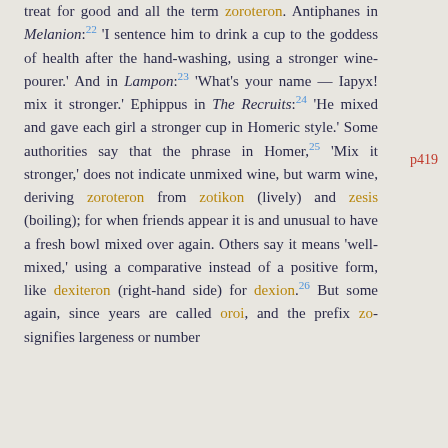treat for good and all the term zoroteron. Antiphanes in Melanion: 22 'I sentence him to drink a cup to the goddess of health after the hand-washing, using a stronger wine-pourer.' And in Lampon: 23 'What's your name — Iapyx! mix it stronger.' Ephippus in The Recruits: 24 'He mixed and gave each girl a stronger cup in Homeric style.' Some authorities say that the phrase in Homer, 25 'Mix it stronger,' does not indicate unmixed wine, but warm wine, deriving zoroteron from zotikon (lively) and zesis (boiling); for when friends appear it is and unusual to have a fresh bowl mixed over again. Others say it means 'well-mixed,' using a comparative instead of a positive form, like dexiteron (right-hand side) for dexion. 26 But some again, since years are called oroi, and the prefix zo- signifies largeness or number
p419